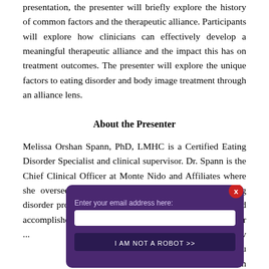presentation, the presenter will briefly explore the history of common factors and the therapeutic alliance. Participants will explore how clinicians can effectively develop a meaningful therapeutic alliance and the impact this has on treatment outcomes. The presenter will explore the unique factors to eating disorder and body image treatment through an alliance lens.
About the Presenter
Melissa Orshan Spann, PhD, LMHC is a Certified Eating Disorder Specialist and clinical supervisor. Dr. Spann is the Chief Clinical Officer at Monte Nido and Affiliates where she oversees the clinical operations for over 30 eating disorder programs. Dr. Spann is a passionate clinician and accomplished presenter... [modal overlay obscures remaining text] ...age development and trauma... ...degree from... ...Miami, and... ...native Florida... ...able kids...
Learning Objectives